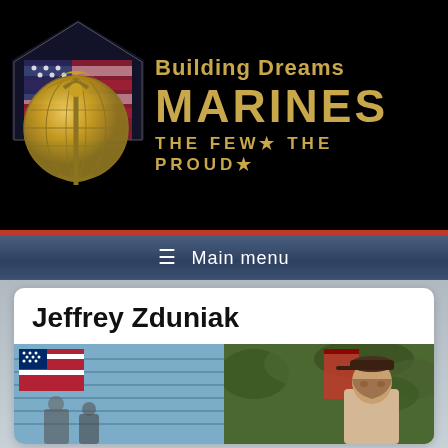[Figure (logo): Marines 'Building Dreams' logo banner. Black background with USMC Eagle Globe and Anchor emblem (gold) on left, and a house silhouette with American flag. Gold text reading 'Building Dreams' above 'MARINES' in large gold letters, with tagline 'THE FEW* THE PROUD*' below.]
≡ Main menu
Jeffrey Zduniak
[Figure (photo): Outdoor photo showing people near a building with light blue siding and an American flag. Right side shows a person wearing a cap and light-colored shirt outdoors near green foliage.]